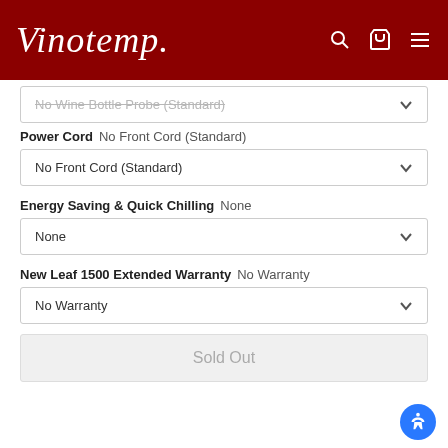Vinotemp
No Wine Bottle Probe (Standard)
Power Cord  No Front Cord (Standard)
No Front Cord (Standard)
Energy Saving & Quick Chilling  None
None
New Leaf 1500 Extended Warranty  No Warranty
No Warranty
Sold Out